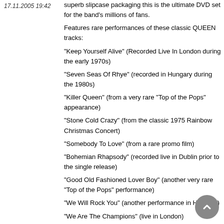17.11.2005 19:42
superb slipcase packaging this is the ultimate DVD set for the band's millions of fans.
Features rare performances of these classic QUEEN tracks:
"Keep Yourself Alive" (Recorded Live In London during the early 1970s)
"Seven Seas Of Rhye" (recorded in Hungary during the 1980s)
"Killer Queen" (from a very rare "Top of the Pops" appearance)
"Stone Cold Crazy" (from the classic 1975 Rainbow Christmas Concert)
"Somebody To Love" (from a rare promo film)
"Bohemian Rhapsody" (recorded live in Dublin prior to the single release)
"Good Old Fashioned Lover Boy" (another very rare "Top of the Pops" performance)
"We Will Rock You" (another performance in Hungary)
"We Are The Champions" (live in London)
"Bicycle Race" (live at the Tokyo Hippodrome in 1979)
"Don't Stop Me Now" (another recording from